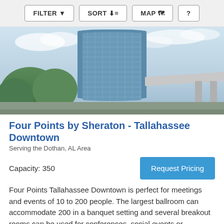FILTER   SORT   MAP   ?
[Figure (photo): Exterior photo of a tall glass high-rise hotel building (Four Points by Sheraton Tallahassee Downtown) with green trees and a covered entrance canopy visible.]
Four Points by Sheraton - Tallahassee Downtown
Serving the Dothan, AL Area
Capacity: 350
Request Pricing
Four Points Tallahassee Downtown is perfect for meetings and events of 10 to 200 people. The largest ballroom can accommodate 200 in a banquet setting and several breakout rooms can be used for conferences, social events or weddings!
Ballroom (+2)